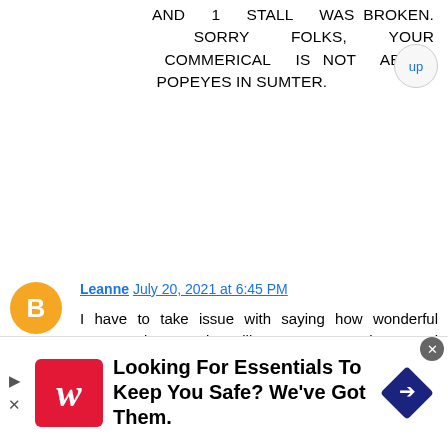AND 1 STALL WAS BROKEN. SORRY FOLKS, YOUR COMMERICAL IS NOT ABOUT POPEYES IN SUMTER.
Leanne July 20, 2021 at 6:45 PM
I have to take issue with saying how wonderful Popeyes is. In Spring Hill, FL you can't order a meal without making it a combo. I don't understand why I am forced to get a combo with a drink and not just a dinner. I can't have caffeine or sugar
[Figure (infographic): Walgreens advertisement banner: 'Looking For Essentials To Keep You Safe? We've Got Them.']